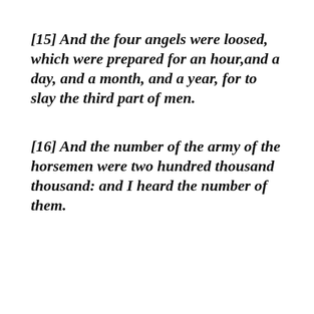[15] And the four angels were loosed, which were prepared for an hour,and a day, and a month, and a year, for to slay the third part of men.
[16] And the number of the army of the horsemen were two hundred thousand thousand: and I heard the number of them.